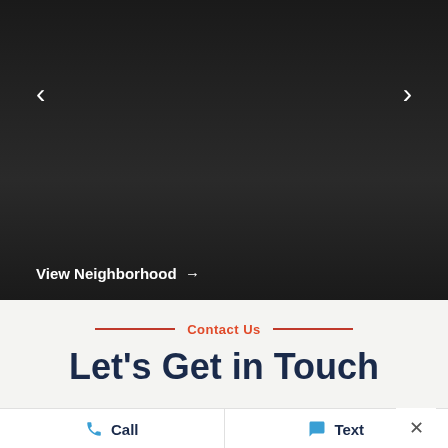[Figure (screenshot): Dark carousel image area with left and right navigation arrows and a 'View Neighborhood →' link at the bottom left]
View Neighborhood →
Contact Us
Let's Get in Touch
Call
Text